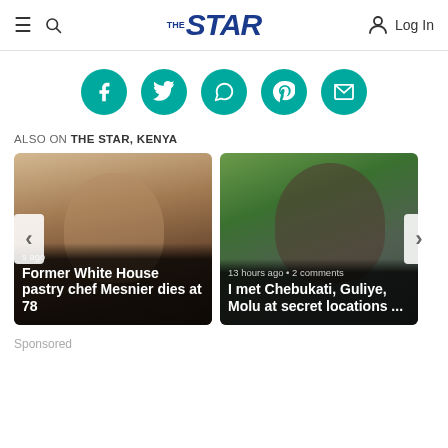THE STAR — navigation header with hamburger menu, search icon, logo, and Log In button
[Figure (infographic): Five teal social sharing icon circles: Facebook (f), Twitter (bird), WhatsApp (speech bubble), Pinterest (P), Email (envelope)]
ALSO ON THE STAR, KENYA
[Figure (photo): News article card: photo of elderly man, caption 's ago', headline 'Former White House pastry chef Mesnier dies at 78']
[Figure (photo): News article card: photo of African man speaking at microphone, caption '13 hours ago • 2 comments', headline 'I met Chebukati, Guliye, Molu at secret locations ...']
Sponsored